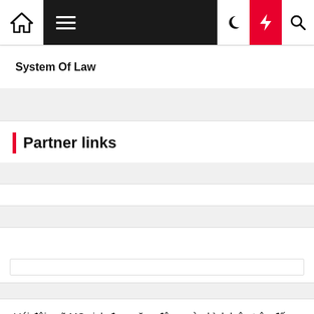Navigation bar with home, menu, moon, lightning, and search icons
System Of Law
Partner links
Với đội ngũ MC xinh đẹp, năng động, vừa bình luận trận đấu vừa cùng anh em chém gió, với những video chất lượng, đảm bảo bạn sẽ có những giây